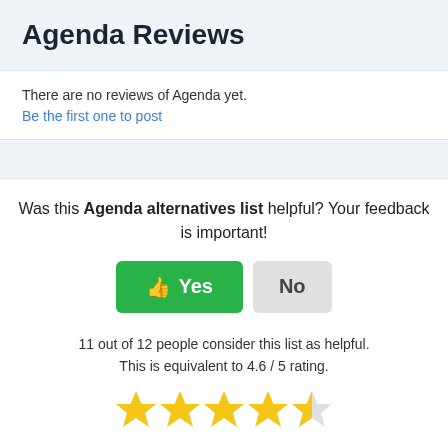Agenda Reviews
There are no reviews of Agenda yet.
Be the first one to post
Was this Agenda alternatives list helpful? Your feedback is important!
11 out of 12 people consider this list as helpful.
This is equivalent to 4.6 / 5 rating.
[Figure (other): 4.6 out of 5 star rating shown as 4 full gold stars and 1 half gold star]